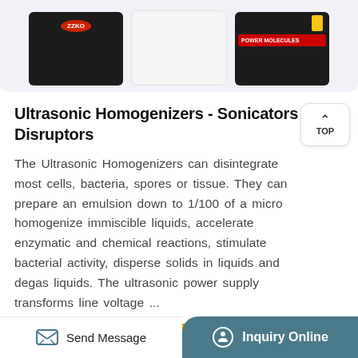[Figure (photo): Three ultrasonic homogenizer/sonicator product images on a light blue-gray background: a black unit on the left, a white unit in the middle, and a black unit with red label and yellow tag on the right.]
Ultrasonic Homogenizers - Sonicators - Cell Disruptors
The Ultrasonic Homogenizers can disintegrate most cells, bacteria, spores or tissue. They can prepare an emulsion down to 1/100 of a micro homogenize immiscible liquids, accelerate enzymatic and chemical reactions, stimulate bacterial activity, disperse solids in liquids and degas liquids. The ultrasonic power supply transforms line voltage ...
[Figure (other): TOP scroll-to-top button with upward caret arrow]
More Product
Send Message   Inquiry Online